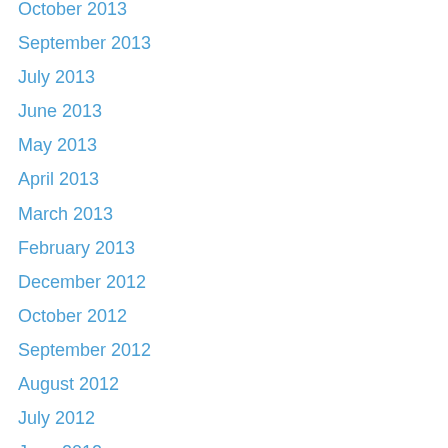October 2013
September 2013
July 2013
June 2013
May 2013
April 2013
March 2013
February 2013
December 2012
October 2012
September 2012
August 2012
July 2012
June 2012
May 2012
April 2012
March 2012
February 2012
January 2012
December 2011